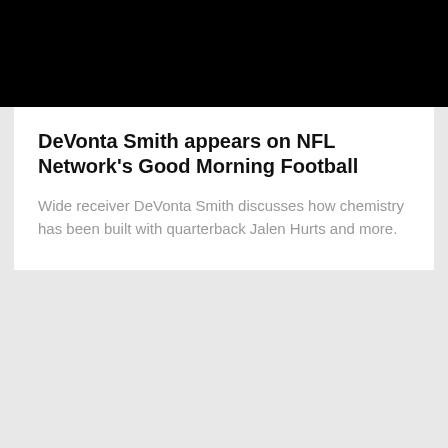[Figure (photo): Black banner image area at the top of the card]
DeVonta Smith appears on NFL Network's Good Morning Football
Wide receiver DeVonta Smith discusses how chemistry has been built with quarterback Jalen Hurts and more.